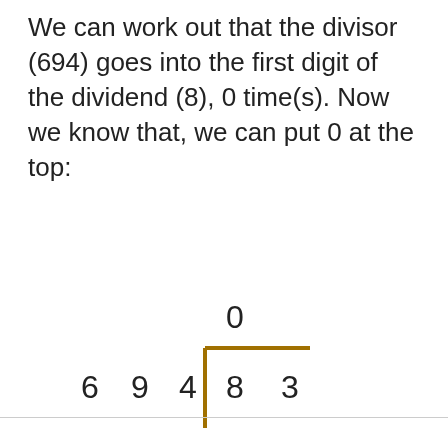We can work out that the divisor (694) goes into the first digit of the dividend (8), 0 time(s). Now we know that, we can put 0 at the top:
[Figure (math-figure): Long division diagram showing 694 dividing 83, with quotient digit 0 above the dividend. The divisor digits 6, 9, 4 are on the left, the dividend digits 8, 3 are inside the division bracket, and 0 is shown above the bracket.]